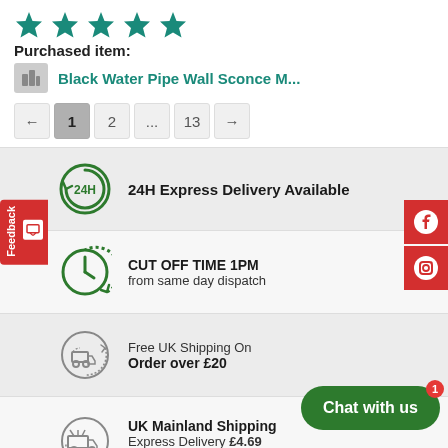[Figure (other): Five teal/green star rating icons]
Purchased item:
Black Water Pipe Wall Sconce M...
← 1 2 ... 13 →
24H Express Delivery Available
CUT OFF TIME 1PM
from same day dispatch
Free UK Shipping On
Order over £20
UK Mainland Shipping
Express Delivery £4.69
Standard(3-5 working days) £2.69
Chat with us